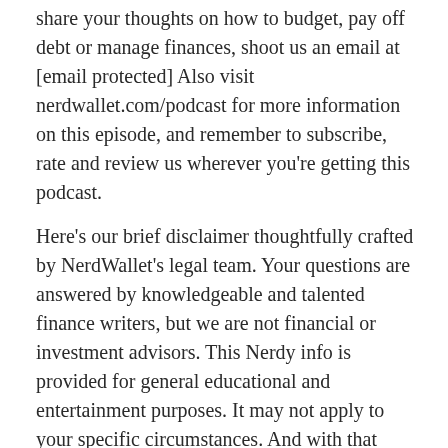share your thoughts on how to budget, pay off debt or manage finances, shoot us an email at [email protected] Also visit nerdwallet.com/podcast for more information on this episode, and remember to subscribe, rate and review us wherever you're getting this podcast.
Here's our brief disclaimer thoughtfully crafted by NerdWallet's legal team. Your questions are answered by knowledgeable and talented finance writers, but we are not financial or investment advisors. This Nerdy info is provided for general educational and entertainment purposes. It may not apply to your specific circumstances. And with that said, until next time, turn to the Nerds.